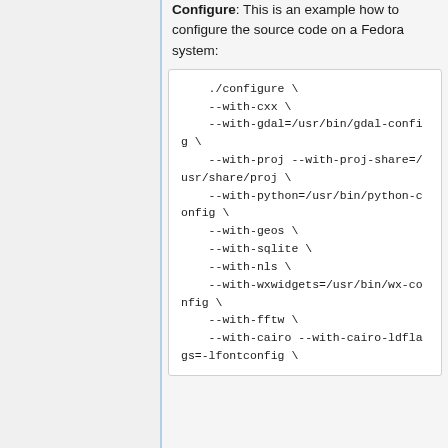Configure: This is an example how to configure the source code on a Fedora system:
./configure \
    --with-cxx \
    --with-gdal=/usr/bin/gdal-config \
    --with-proj --with-proj-share=/usr/share/proj \
    --with-python=/usr/bin/python-config \
    --with-geos \
    --with-sqlite \
    --with-nls \
    --with-wxwidgets=/usr/bin/wx-config \
    --with-fftw \
    --with-cairo --with-cairo-ldflags=-lfontconfig \